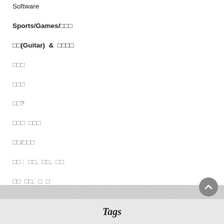Software
Sports/Games/□□□
□□(Guitar) & □□□□
□□□
□□□
□□?
□□□ □□□
□□/□□□
□□ : □□, □□, □□
□□ □□, □ □
□ / □□ / □□ : □□ □□ □□
Tags